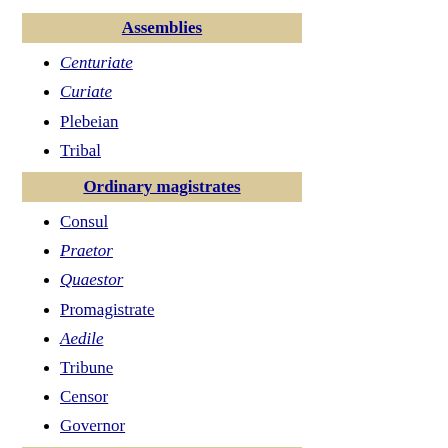Senatus consultum ultimum
Assemblies
Centuriate
Curiate
Plebeian
Tribal
Ordinary magistrates
Consul
Praetor
Quaestor
Promagistrate
Aedile
Tribune
Censor
Governor
Extraordinary magistrates